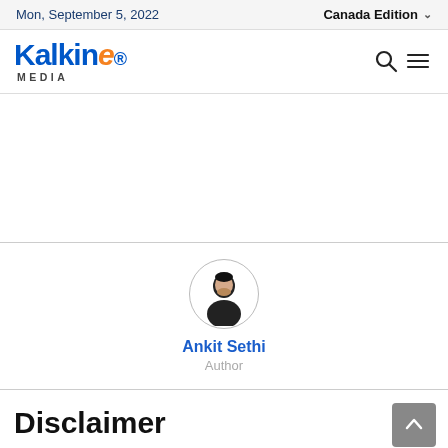Mon, September 5, 2022 | Canada Edition
[Figure (logo): Kalkine Media logo with blue and orange branding]
[Figure (photo): Circular profile photo of Ankit Sethi, author]
Ankit Sethi
Author
Disclaimer